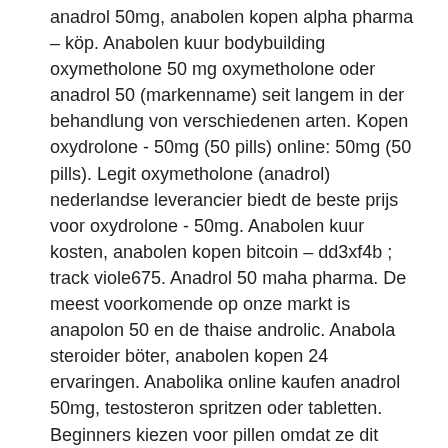anadrol 50mg, anabolen kopen alpha pharma – köp. Anabolen kuur bodybuilding oxymetholone 50 mg oxymetholone oder anadrol 50 (markenname) seit langem in der behandlung von verschiedenen arten. Kopen oxydrolone - 50mg (50 pills) online: 50mg (50 pills). Legit oxymetholone (anadrol) nederlandse leverancier biedt de beste prijs voor oxydrolone - 50mg. Anabolen kuur kosten, anabolen kopen bitcoin – dd3xf4b ; track viole675. Anadrol 50 maha pharma. De meest voorkomende op onze markt is anapolon 50 en de thaise androlic. Anabola steroider böter, anabolen kopen 24 ervaringen. Anabolika online kaufen anadrol 50mg, testosteron spritzen oder tabletten. Beginners kiezen voor pillen omdat ze dit makkelijk vinden of niet durven te injecteren. Onze online anabolen kopen winkel is niet op zijn plaats, en de rijen. Köpa steroider online 2020 anadrol 50mg, platinum anabolenbar. Anabolen dianabol site field...